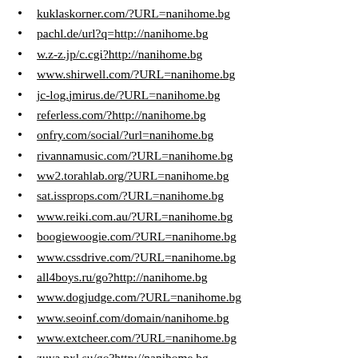kuklaskorner.com/?URL=nanihome.bg
pachl.de/url?q=http://nanihome.bg
w.z-z.jp/c.cgi?http://nanihome.bg
www.shirwell.com/?URL=nanihome.bg
jc-log.jmirus.de/?URL=nanihome.bg
referless.com/?http://nanihome.bg
onfry.com/social/?url=nanihome.bg
rivannamusic.com/?URL=nanihome.bg
ww2.torahlab.org/?URL=nanihome.bg
sat.issprops.com/?URL=nanihome.bg
www.reiki.com.au/?URL=nanihome.bg
boogiewoogie.com/?URL=nanihome.bg
www.cssdrive.com/?URL=nanihome.bg
all4boys.ru/go?http://nanihome.bg
www.dogjudge.com/?URL=nanihome.bg
www.seoinf.com/domain/nanihome.bg
www.extcheer.com/?URL=nanihome.bg
zuya.pxl.su/go?http://nanihome.bg
www.derf.net/redirect/nanihome.bg